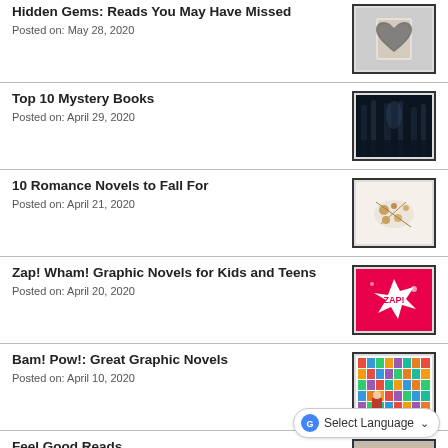Hidden Gems: Reads You May Have Missed
Posted on: May 28, 2020
[Figure (photo): Book with pages folded into a heart shape]
Top 10 Mystery Books
Posted on: April 29, 2020
[Figure (photo): Dark misty forest]
10 Romance Novels to Fall For
Posted on: April 21, 2020
[Figure (photo): Romantic objects on white background]
Zap! Wham! Graphic Novels for Kids and Teens
Posted on: April 20, 2020
[Figure (photo): Pink background with ZAP! comic burst]
Bam! Pow!: Great Graphic Novels
Posted on: April 10, 2020
[Figure (photo): Colorful wall of graphic novel covers with person in red]
Feel Good Reads
Posted on: April 3, 2020